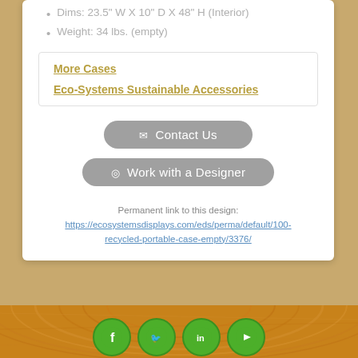Dims: 23.5" W X 10" D X 48" H (Interior)
Weight: 34 lbs. (empty)
More Cases
Eco-Systems Sustainable Accessories
✉ Contact Us
◎ Work with a Designer
Permanent link to this design: https://ecosystemsdisplays.com/eds/perma/default/100-recycled-portable-case-empty/3376/
[Figure (illustration): Footer bar with wood grain texture background and four green circular social media icons (Facebook, Twitter, LinkedIn, YouTube) partially visible at the bottom of the page]